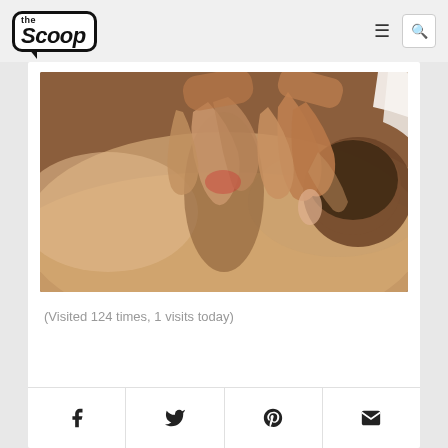[Figure (logo): The Scoop logo in speech bubble outline]
[Figure (photo): Hands performing a back massage on a person lying down]
(Visited 124 times, 1 visits today)
[Figure (infographic): Social sharing bar with Facebook, Twitter, Pinterest, and Email icons]